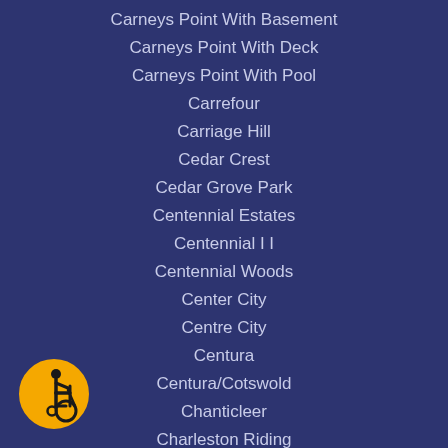Carneys Point With Basement
Carneys Point With Deck
Carneys Point With Pool
Carrefour
Carriage Hill
Cedar Crest
Cedar Grove Park
Centennial Estates
Centennial I I
Centennial Woods
Center City
Centre City
Centura
Centura/Cotswold
Chanticleer
Charleston Riding
Cherry Downs
[Figure (illustration): Accessibility icon: yellow circle with black wheelchair user symbol]